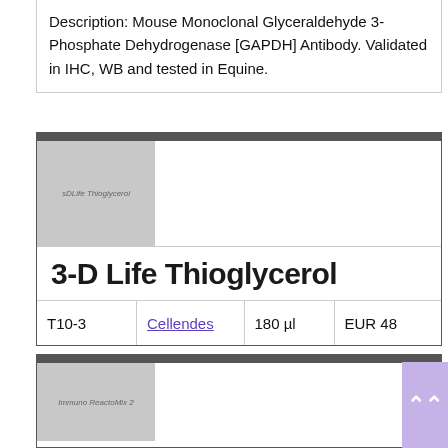Description: Mouse Monoclonal Glyceraldehyde 3-Phosphate Dehydrogenase [GAPDH] Antibody. Validated in IHC, WB and tested in Equine.
[Figure (photo): Product image placeholder for 3-D Life Thioglycerol, labeled 'sDLife Thioglycerol']
3-D Life Thioglycerol
|  | Supplier | Volume | Price |
| --- | --- | --- | --- |
| T10-3 | Cellendes | 180 µl | EUR 48 |
[Figure (photo): Product image placeholder for second product, labeled 'Immuno ReactoMix 2']